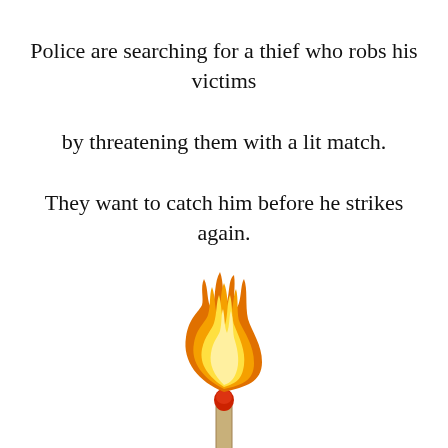Police are searching for a thief who robs his victims by threatening them with a lit match. They want to catch him before he strikes again.
[Figure (illustration): Cartoon illustration of a lit match with a large orange and yellow flame above it. The match stick is tan/beige colored with a red matchhead.]